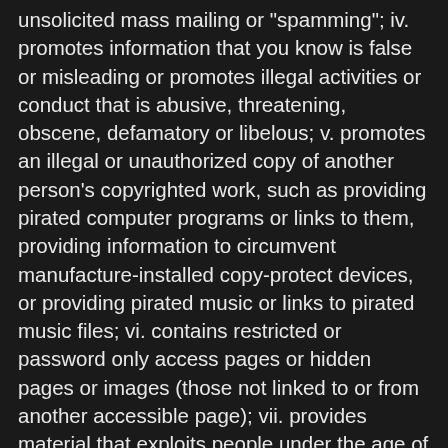unsolicited mass mailing or "spamming"; iv. promotes information that you know is false or misleading or promotes illegal activities or conduct that is abusive, threatening, obscene, defamatory or libelous; v. promotes an illegal or unauthorized copy of another person's copyrighted work, such as providing pirated computer programs or links to them, providing information to circumvent manufacture-installed copy-protect devices, or providing pirated music or links to pirated music files; vi. contains restricted or password only access pages or hidden pages or images (those not linked to or from another accessible page); vii. provides material that exploits people under the age of 18 in a sexual or violent manner, or solicits personal information from anyone under 18; viii. provides instructional information about illegal activities such as making or buying illegal weapons, violating someone's privacy, or providing or creating computer viruses; ix. solicits passwords or personal identifying information